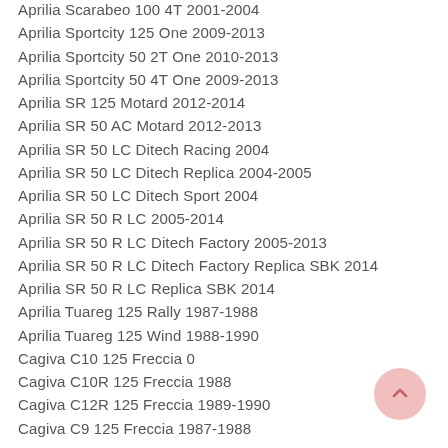Aprilia Scarabeo 100 4T 2001-2004
Aprilia Sportcity 125 One 2009-2013
Aprilia Sportcity 50 2T One 2010-2013
Aprilia Sportcity 50 4T One 2009-2013
Aprilia SR 125 Motard 2012-2014
Aprilia SR 50 AC Motard 2012-2013
Aprilia SR 50 LC Ditech Racing 2004
Aprilia SR 50 LC Ditech Replica 2004-2005
Aprilia SR 50 LC Ditech Sport 2004
Aprilia SR 50 R LC 2005-2014
Aprilia SR 50 R LC Ditech Factory 2005-2013
Aprilia SR 50 R LC Ditech Factory Replica SBK 2014
Aprilia SR 50 R LC Replica SBK 2014
Aprilia Tuareg 125 Rally 1987-1988
Aprilia Tuareg 125 Wind 1988-1990
Cagiva C10 125 Freccia 0
Cagiva C10R 125 Freccia 1988
Cagiva C12R 125 Freccia 1989-1990
Cagiva C9 125 Freccia 1987-1988